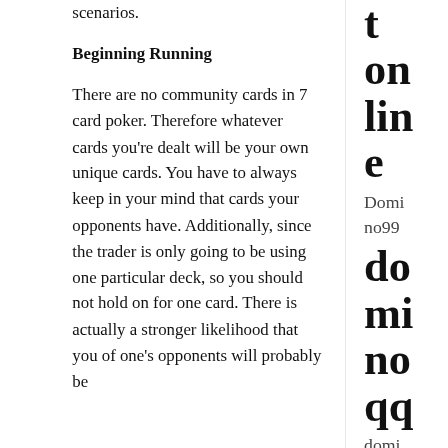find out to manage certain scenarios.
Beginning Running
There are no community cards in 7 card poker. Therefore whatever cards you're dealt will be your own unique cards. You have to always keep in your mind that cards your opponents have. Additionally, since the trader is only going to be using one particular deck, so you should not hold on for one card. There is actually a stronger likelihood that you of one's opponents will probably be
t
on
lin
e
Domino99
do
mi
no
qq
dominoqq online
Gam